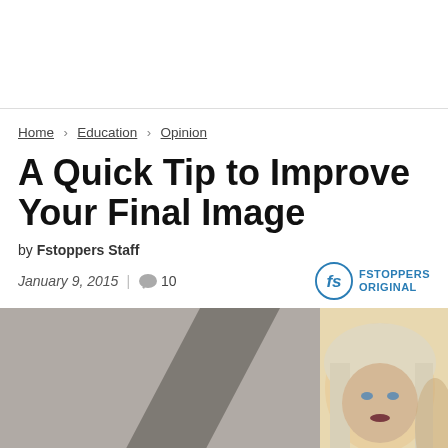Home > Education > Opinion
A Quick Tip to Improve Your Final Image
by Fstoppers Staff
January 9, 2015  |  10
[Figure (photo): Portrait photo of a blonde woman looking at the camera, split-tone background with gray on left and warm tones on right]